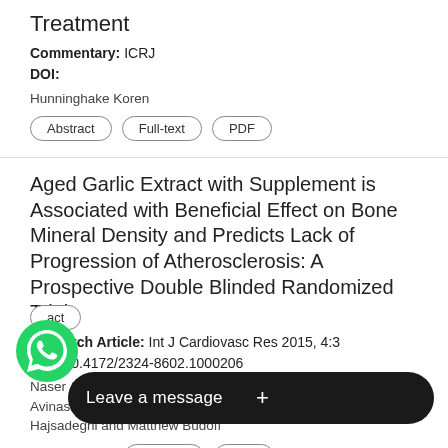Treatment
Commentary: ICRJ
DOI:
Hunninghake Koren
Abstract | Full-text | PDF
Aged Garlic Extract with Supplement is Associated with Beneficial Effect on Bone Mineral Density and Predicts Lack of Progression of Atherosclerosis: A Prospective Double Blinded Randomized Trial
Research Article: Int J Cardiovasc Res 2015, 4:3
DOI: 10.4172/2324-8602.1000206
Naser Ahmadi, Vahid Nabavi, Hussein Zughaib, Nichole Patel, Avinash Rathod, Ferdinand Flores, Song Mao, Fereshteh, Hajsadeghi and Matthew Budoff
Abstract | Full-text | PDF
Incr... xidant Balance in